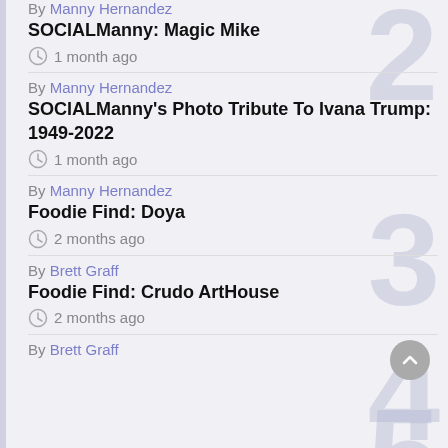By Manny Hernandez
SOCIALManny: Magic Mike
1 month ago
By Manny Hernandez
SOCIALManny's Photo Tribute To Ivana Trump: 1949-2022
1 month ago
By Manny Hernandez
Foodie Find: Doya
2 months ago
By Brett Graff
Foodie Find: Crudo ArtHouse
2 months ago
By Brett Graff